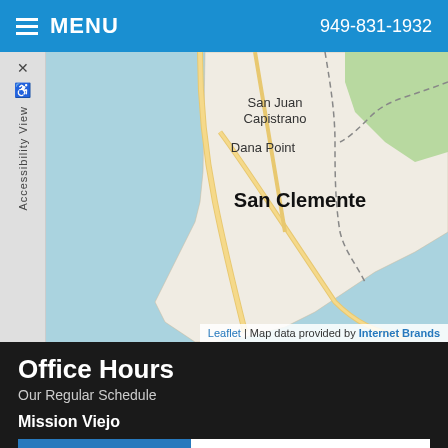MENU  949-831-1932
[Figure (map): Map showing coastal area including San Juan Capistrano, Dana Point, and San Clemente in Southern California. Blue ocean to the left, roads and city labels visible.]
Leaflet | Map data provided by Internet Brands
Office Hours
Our Regular Schedule
Mission Viejo
| Day | Hours |
| --- | --- |
| Monday: | 8:30 am-6:00 pm |
| Tuesday: | 10:00 am-5:30 pm |